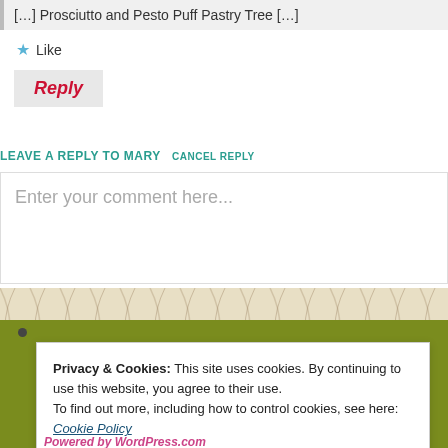[…] Prosciutto and Pesto Puff Pastry Tree […]
★ Like
Reply
LEAVE A REPLY TO MARY CANCEL REPLY
Enter your comment here...
Privacy & Cookies: This site uses cookies. By continuing to use this website, you agree to their use.
To find out more, including how to control cookies, see here: Cookie Policy
Close and accept
Powered by WordPress.com